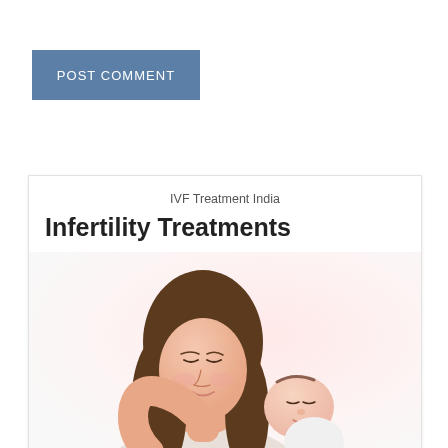POST COMMENT
IVF Treatment India
Infertility Treatments
[Figure (photo): A woman with brown hair gently holding and looking down at a baby, on a light pink/white background.]